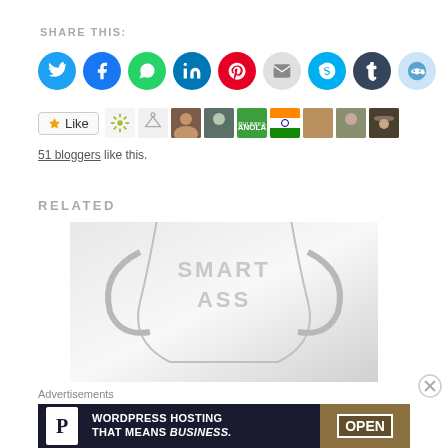SHARE THIS:
[Figure (infographic): Row of social media share icon buttons: Twitter (blue), Facebook (blue), WhatsApp (green), LinkedIn (dark blue), Pinterest (red), Email (gray), Skype (light blue), Tumblr (dark navy), Reddit (light blue)]
[Figure (infographic): Like button with star icon followed by a strip of 8 blogger avatar thumbnails]
51 bloggers like this.
RELATED
[Figure (photo): Partially visible image of a glass trophy/cup with text 'SMART ASS' engraved on it, shown cropped]
Advertisements
[Figure (infographic): Dark advertisement banner for WordPress hosting with P logo on left and 'OPEN' sign image on right. Text: WORDPRESS HOSTING THAT MEANS BUSINESS.]